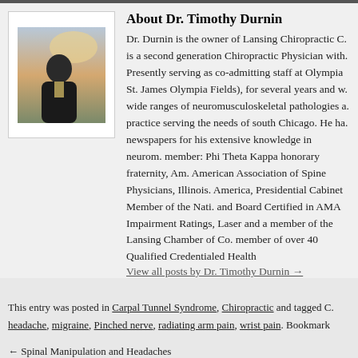[Figure (photo): Portrait photo of Dr. Timothy Durnin standing outdoors with sky in background]
About Dr. Timothy Durnin
Dr. Durnin is the owner of Lansing Chiropractic C. is a second generation Chiropractic Physician with. Presently serving as co-admitting staff at Olympia St. James Olympia Fields), for several years and w. wide ranges of neuromusculoskeletal pathologies a. practice serving the needs of south Chicago. He ha. newspapers for his extensive knowledge in neurom. member: Phi Theta Kappa honorary fraternity, Am. American Association of Spine Physicians, Illinois. America, Presidential Cabinet Member of the Nati. and Board Certified in AMA Impairment Ratings, Laser and a member of the Lansing Chamber of Co. member of over 40 Qualified Credentialed Health
View all posts by Dr. Timothy Durnin →
This entry was posted in Carpal Tunnel Syndrome, Chiropractic and tagged C. headache, migraine, Pinched nerve, radiating arm pain, wrist pain. Bookmark
← Spinal Manipulation and Headaches